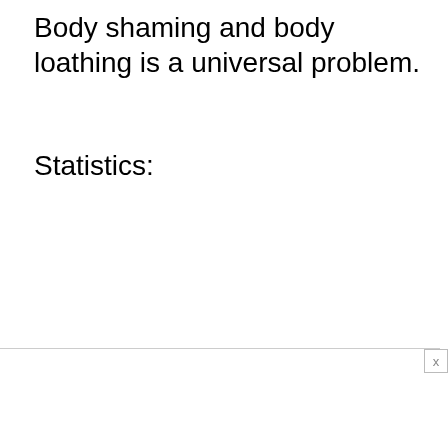Body shaming and body loathing is a universal problem.
Statistics: